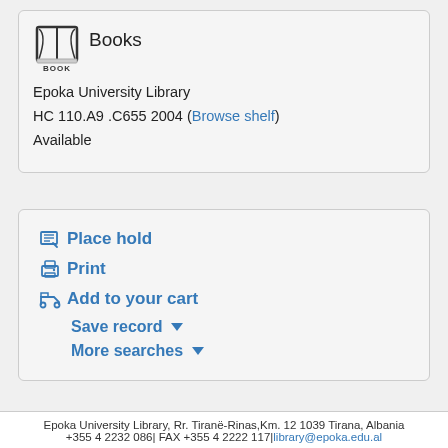[Figure (illustration): Open book icon representing Books resource type]
Books
BOOK
Epoka University Library
HC 110.A9 .C655 2004 (Browse shelf)
Available
Place hold
Print
Add to your cart
Save record ▾
More searches ▾
Epoka University Library, Rr. Tiranë-Rinas,Km. 12 1039 Tirana, Albania +355 4 2232 086| FAX +355 4 2222 117|library@epoka.edu.al